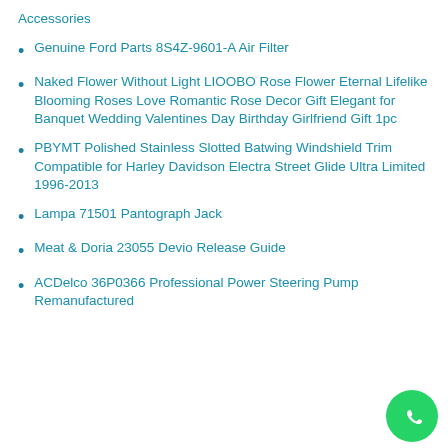Accessories
Genuine Ford Parts 8S4Z-9601-A Air Filter
Naked Flower Without Light LIOOBO Rose Flower Eternal Lifelike Blooming Roses Love Romantic Rose Decor Gift Elegant for Banquet Wedding Valentines Day Birthday Girlfriend Gift 1pc
PBYMT Polished Stainless Slotted Batwing Windshield Trim Compatible for Harley Davidson Electra Street Glide Ultra Limited 1996-2013
Lampa 71501 Pantograph Jack
Meat & Doria 23055 Devio Release Guide
ACDelco 36P0366 Professional Power Steering Pump Remanufactured
[Figure (logo): WhatsApp green circular button with phone handset icon]